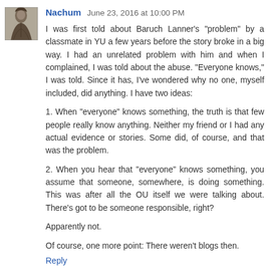[Figure (illustration): Small avatar image of a figure, grayscale illustration style]
Nachum June 23, 2016 at 10:00 PM
I was first told about Baruch Lanner's "problem" by a classmate in YU a few years before the story broke in a big way. I had an unrelated problem with him and when I complained, I was told about the abuse. "Everyone knows," I was told. Since it has, I've wondered why no one, myself included, did anything. I have two ideas:
1. When "everyone" knows something, the truth is that few people really know anything. Neither my friend or I had any actual evidence or stories. Some did, of course, and that was the problem.
2. When you hear that "everyone" knows something, you assume that someone, somewhere, is doing something. This was after all the OU itself we were talking about. There's got to be someone responsible, right?
Apparently not.
Of course, one more point: There weren't blogs then.
Reply